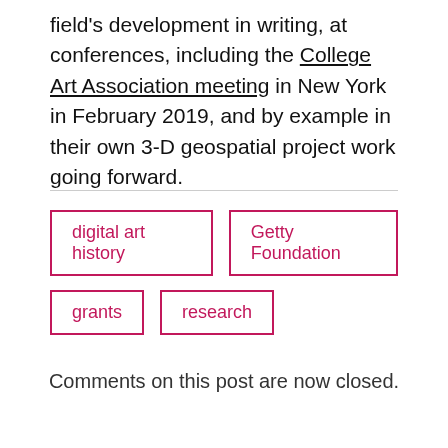field's development in writing, at conferences, including the College Art Association meeting in New York in February 2019, and by example in their own 3-D geospatial project work going forward.
digital art history
Getty Foundation
grants
research
Comments on this post are now closed.